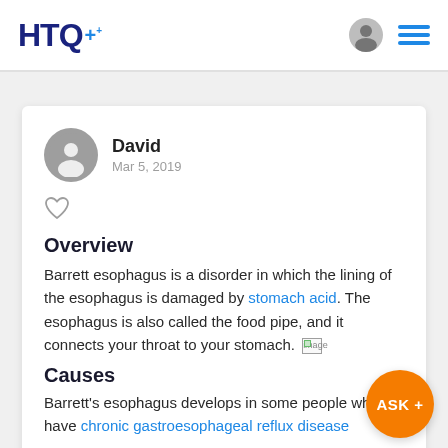HTQ+
David
Mar 5, 2019
Overview
Barrett esophagus is a disorder in which the lining of the esophagus is damaged by stomach acid. The esophagus is also called the food pipe, and it connects your throat to your stomach.
Causes
Barrett's esophagus develops in some people who have chronic gastroesophageal reflux disease